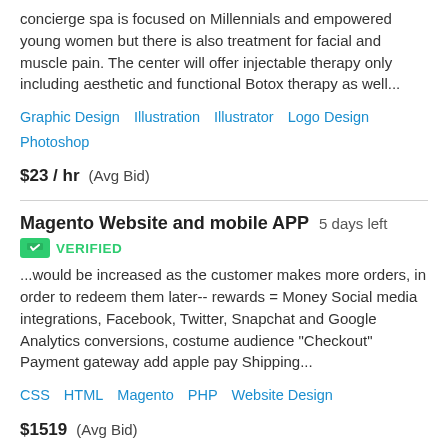concierge spa is focused on Millennials and empowered young women but there is also treatment for facial and muscle pain. The center will offer injectable therapy only including aesthetic and functional Botox therapy as well...
Graphic Design   Illustration   Illustrator   Logo Design   Photoshop
$23 / hr  (Avg Bid)
Magento Website and mobile APP  5 days left
VERIFIED
...would be increased as the customer makes more orders, in order to redeem them later-- rewards = Money Social media integrations, Facebook, Twitter, Snapchat and Google Analytics conversions, costume audience "Checkout" Payment gateway add apple pay Shipping...
CSS   HTML   Magento   PHP   Website Design
$1519  (Avg Bid)